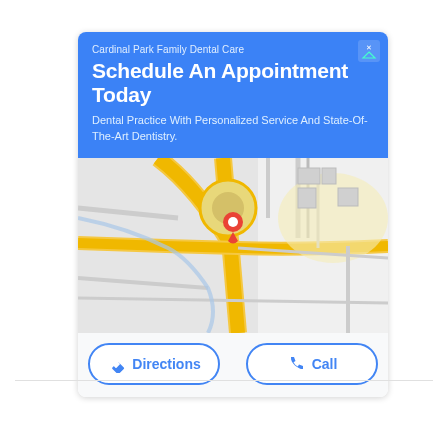Cardinal Park Family Dental Care
Schedule An Appointment Today
Dental Practice With Personalized Service And State-Of-The-Art Dentistry.
[Figure (map): Google Maps view showing road intersections with a red location pin marker in the center]
Directions  Call